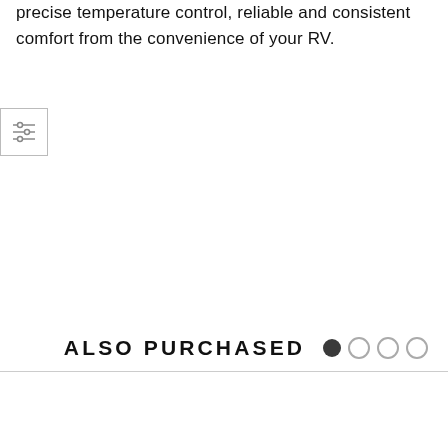precise temperature control, reliable and consistent comfort from the convenience of your RV.
[Figure (other): Small icon box with three horizontal adjustment/slider lines icon]
ALSO PURCHASED